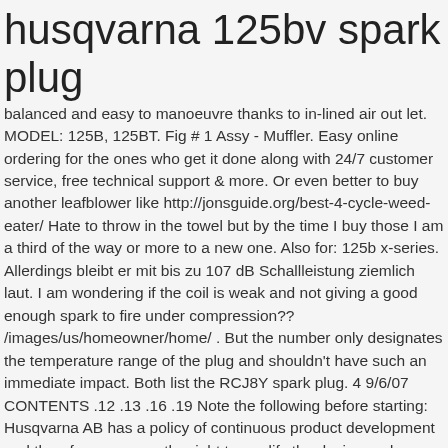husqvarna 125bv spark plug
balanced and easy to manoeuvre thanks to in-lined air out let. MODEL: 125B, 125BT. Fig # 1 Assy - Muffler. Easy online ordering for the ones who get it done along with 24/7 customer service, free technical support & more. Or even better to buy another leafblower like http://jonsguide.org/best-4-cycle-weed-eater/ Hate to throw in the towel but by the time I buy those I am a third of the way or more to a new one. Also for: 125b x-series. Allerdings bleibt er mit bis zu 107 dB Schallleistung ziemlich laut. I am wondering if the coil is weak and not giving a good enough spark to fire under compression?? /images/us/homeowner/home/ . But the number only designates the temperature range of the plug and shouldn't have such an immediate impact. Both list the RCJ8Y spark plug. 4 9/6/07 CONTENTS .12 .13 .16 .19 Note the following before starting: Husqvarna AB has a policy of continuous product development and therefore reserves the right to modify the design and appearance of … En español Live Chat online. Thank you for contacting Husqvarna. Now I am really confused but a tad enlightened. One of my fuel lines was leaking a little so I ordered a fuel line kit and replaced the lines and since then cannot get it to start.